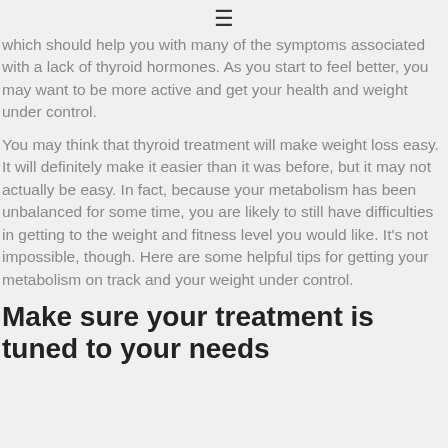≡
which should help you with many of the symptoms associated with a lack of thyroid hormones. As you start to feel better, you may want to be more active and get your health and weight under control.
You may think that thyroid treatment will make weight loss easy. It will definitely make it easier than it was before, but it may not actually be easy. In fact, because your metabolism has been unbalanced for some time, you are likely to still have difficulties in getting to the weight and fitness level you would like. It's not impossible, though. Here are some helpful tips for getting your metabolism on track and your weight under control.
Make sure your treatment is tuned to your needs